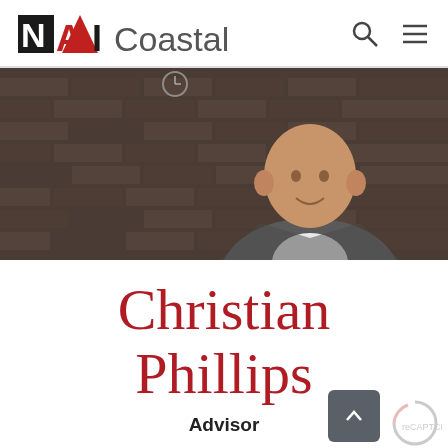[Figure (logo): NAI Coastal logo with stylized N, red triangle A, I in black, and 'Coastal' in dark gray]
[Figure (photo): Professional headshot of Christian Phillips, a bald man in a gray blazer and white shirt, posed against a rustic brick wall background]
Christian Phillips
Advisor